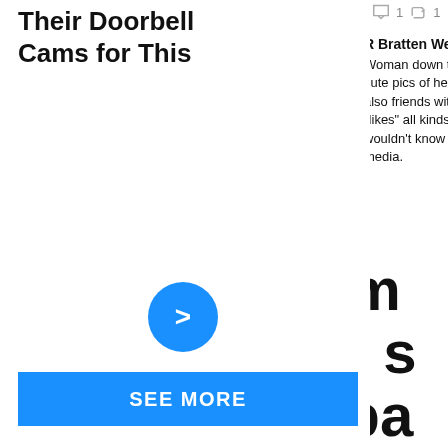Their Doorbell Cams for This
[Figure (other): Blue circle button with right arrow (chevron)]
SEE MORE
[Figure (screenshot): Twitter/social media screenshot showing tweet icons (reply 1, retweet 1), profile photo of R Bratten Weiss, tweet text: 'Woman down the cute pics of her li... also friends with S... "likes" all kinds of... wouldn't know it e... media.' and large bold text: 'I'd like to nom... to go get our s... from the taliba...']